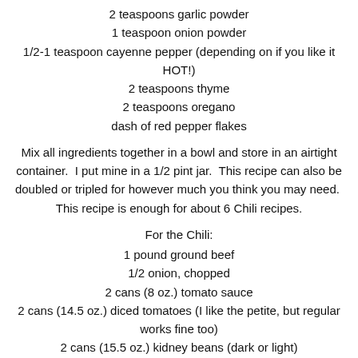2 teaspoons garlic powder
1 teaspoon onion powder
1/2-1 teaspoon cayenne pepper (depending on if you like it HOT!)
2 teaspoons thyme
2 teaspoons oregano
dash of red pepper flakes
Mix all ingredients together in a bowl and store in an airtight container.  I put mine in a 1/2 pint jar.  This recipe can also be doubled or tripled for however much you think you may need.  This recipe is enough for about 6 Chili recipes.
For the Chili:
1 pound ground beef
1/2 onion, chopped
2 cans (8 oz.) tomato sauce
2 cans (14.5 oz.) diced tomatoes (I like the petite, but regular works fine too)
2 cans (15.5 oz.) kidney beans (dark or light)
3 Tablespoons Chili Seasoning (from above)